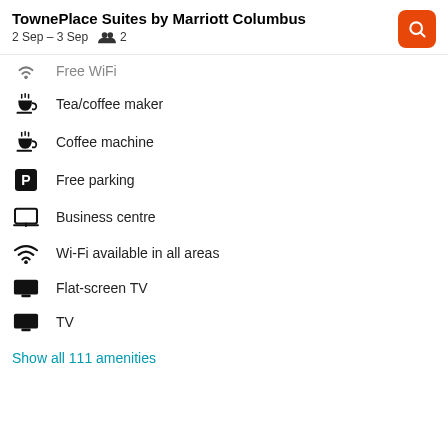TownePlace Suites by Marriott Columbus
2 Sep – 3 Sep  👥 2
Free WiFi (truncated/partial)
Tea/coffee maker
Coffee machine
Free parking
Business centre
Wi-Fi available in all areas
Flat-screen TV
TV
Show all 111 amenities